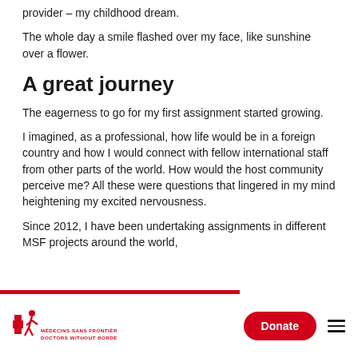provider – my childhood dream.
The whole day a smile flashed over my face, like sunshine over a flower.
A great journey
The eagerness to go for my first assignment started growing.
I imagined, as a professional, how life would be in a foreign country and how I would connect with fellow international staff from other parts of the world. How would the host community perceive me? All these were questions that lingered in my mind heightening my excited nervousness.
Since 2012, I have been undertaking assignments in different MSF projects around the world,
Médecins Sans Frontières / Doctors Without Borders — Donate